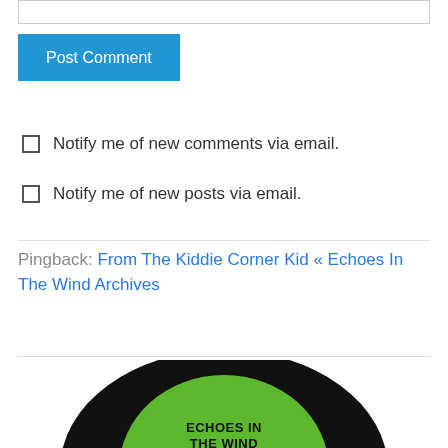[Figure (other): Text input box (comment field, partially visible at top)]
Post Comment
Notify me of new comments via email.
Notify me of new posts via email.
Pingback: From The Kiddie Corner Kid « Echoes In The Wind Archives
[Figure (photo): A vinyl record with a green label reading: ECHOES IN THE WIND, PRODUCED BY ALL WHO CAME BEFORE]